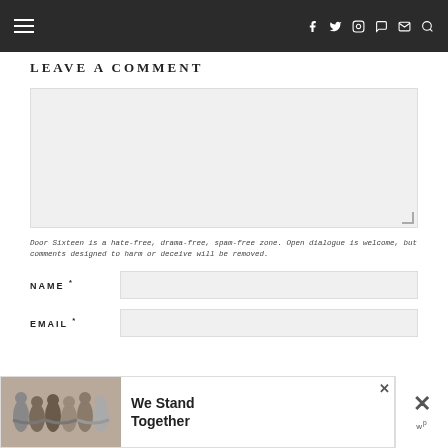≡  f  twitter  instagram  pinterest  rss  mail  search
LEAVE A COMMENT
[Figure (other): Comment text area input box with resize handle]
Door Sixteen is a hate-free, drama-free, spam-free zone. Open dialogue is welcome, but comments designed to harm or deceive will be removed.
NAME *
EMAIL *
[Figure (infographic): Advertisement banner: group of people photo with 'We Stand Together' text and close button]